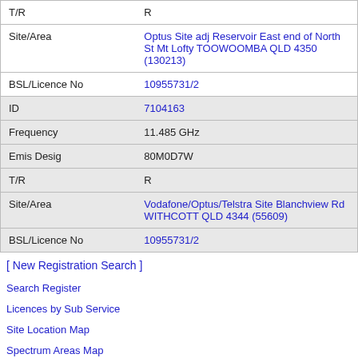| Field | Value |
| --- | --- |
| T/R | R |
| Site/Area | Optus Site adj Reservoir East end of North St Mt Lofty TOOWOOMBA QLD 4350 (130213) |
| BSL/Licence No | 10955731/2 |
| ID | 7104163 |
| Frequency | 11.485 GHz |
| Emis Desig | 80M0D7W |
| T/R | R |
| Site/Area | Vodafone/Optus/Telstra Site Blanchview Rd WITHCOTT QLD 4344 (55609) |
| BSL/Licence No | 10955731/2 |
[ New Registration Search ]
Search Register
Licences by Sub Service
Site Location Map
Spectrum Areas Map
Frequency Range Search
Access Areas
Antennas